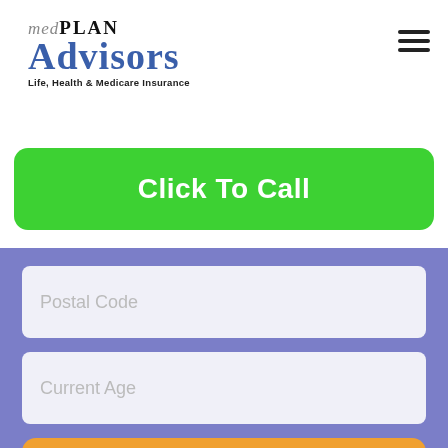[Figure (logo): MedPlan Advisors logo with tagline 'Life, Health & Medicare Insurance']
[Figure (other): Hamburger menu icon (three horizontal lines)]
Click To Call
Postal Code
Current Age
GET QUOTE!